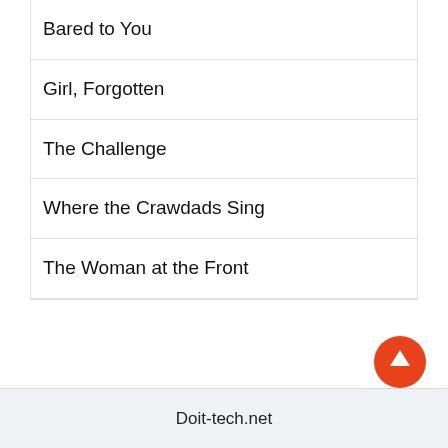Bared to You
Girl, Forgotten
The Challenge
Where the Crawdads Sing
The Woman at the Front
Doit-tech.net